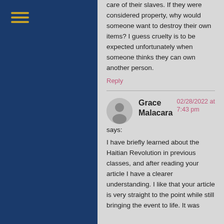[Figure (other): Hamburger menu icon with three horizontal gold lines on dark blue sidebar]
care of their slaves. If they were considered property, why would someone want to destroy their own items? I guess cruelty is to be expected unfortunately when someone thinks they can own another person.
Reply
[Figure (other): Gray circular avatar with silhouette of a person]
Grace Malacara says: 02/28/2022 at 7:43 pm
I have briefly learned about the Haitian Revolution in previous classes, and after reading your article I have a clearer understanding. I like that your article is very straight to the point while still bringing the event to life. It was